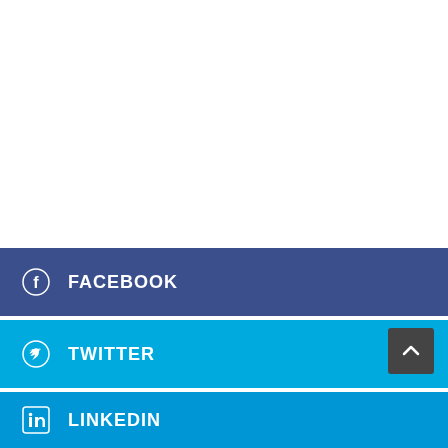[Figure (other): White blank area taking up the upper portion of the page]
FACEBOOK
TWITTER
LINKEDIN